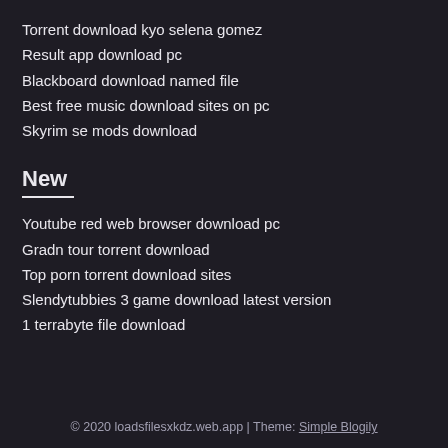Torrent download kyo selena gomez
Result app download pc
Blackboard download named file
Best free music download sites on pc
Skyrim se mods download
New
Youtube red web browser download pc
Gradn tour torrent download
Top porn torrent download sites
Slendytubbies 3 game download latest version
1 terrabyte file download
© 2020 loadsfilesxkdz.web.app | Theme: Simple Blogily